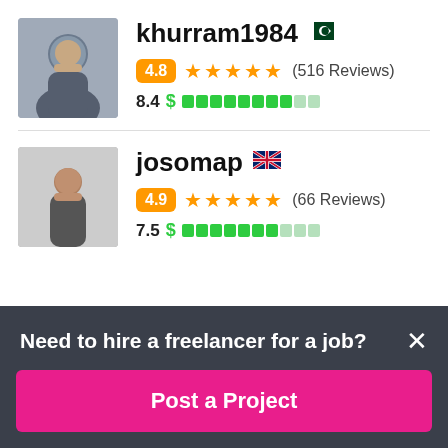khurram1984 🇵🇰
4.8 ★★★★★ (516 Reviews)
8.4 $ ▓▓▓▓▓▓▓▓▓░
josomap 🇬🇧
4.9 ★★★★★ (66 Reviews)
7.5 $ ▓▓▓▓▓▓▓░░░
Need to hire a freelancer for a job?
Post a Project